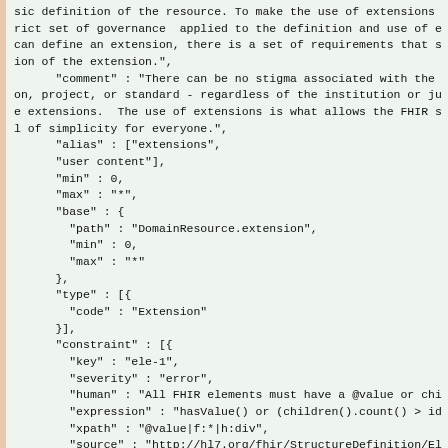sic definition of the resource. To make the use of extensions
rict set of governance applied to the definition and use of e
can define an extension, there is a set of requirements that s
ion of the extension.",
      "comment" : "There can be no stigma associated with the
on, project, or standard - regardless of the institution or ju
e extensions.  The use of extensions is what allows the FHIR s
l of simplicity for everyone.",
      "alias" : ["extensions",
      "user content"],
      "min" : 0,
      "max" : "*",
      "base" : {
        "path" : "DomainResource.extension",
        "min" : 0,
        "max" : "*"
      },
      "type" : [{
        "code" : "Extension"
      }],
      "constraint" : [{
        "key" : "ele-1",
        "severity" : "error",
        "human" : "All FHIR elements must have a @value or chi
        "expression" : "hasValue() or (children().count() > id
        "xpath" : "@value|f:*|h:div",
        "source" : "http://hl7.org/fhir/StructureDefinition/El
      },
      {